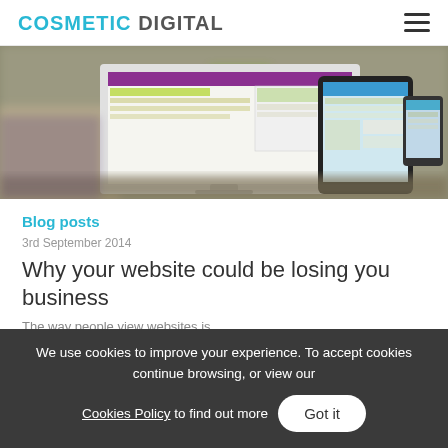COSMETIC DIGITAL
[Figure (screenshot): Hero image showing a website displayed on a desktop monitor, tablet, and mobile device with a blurred office/salon background]
Blog posts
3rd September 2014
Why your website could be losing you business
The way people view websites is
We use cookies to improve your experience. To accept cookies continue browsing, or view our Cookies Policy to find out more  Got it